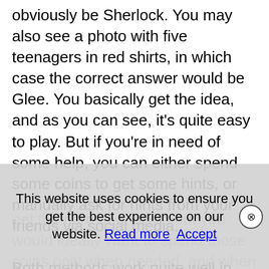obviously be Sherlock. You may also see a photo with five teenagers in red shirts, in which case the correct answer would be Glee. You basically get the idea, and as you can see, it's quite easy to play. But if you're in need of some help, you can either spend some coins to get some hints, or manually ask for hints from your friends via social media.

Both methods work quite well in helping you get the correct answer, but you would ideally want to spend those coins only when needed, and when it comes to asking friends, you may have to wait. But you'd like to avoid...
This website uses cookies to ensure you get the best experience on our website. Read more Accept